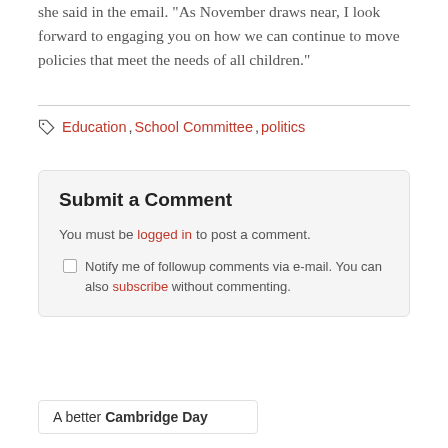she said in the email. "As November draws near, I look forward to engaging you on how we can continue to move policies that meet the needs of all children."
Education, School Committee, politics
Submit a Comment
You must be logged in to post a comment.
Notify me of followup comments via e-mail. You can also subscribe without commenting.
A better Cambridge Day